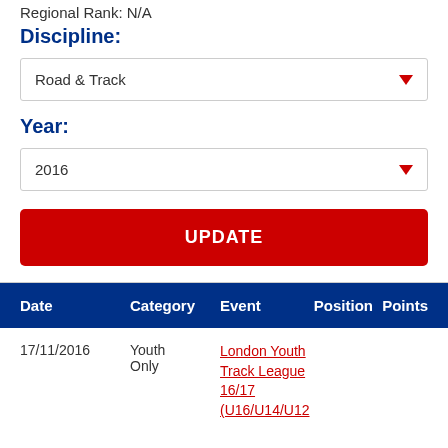Regional Rank: N/A
Discipline:
Road & Track
Year:
2016
UPDATE
| Date | Category | Event | Position | Points |
| --- | --- | --- | --- | --- |
| 17/11/2016 | Youth Only | London Youth Track League 16/17 (U16/U14/U12 |  |  |